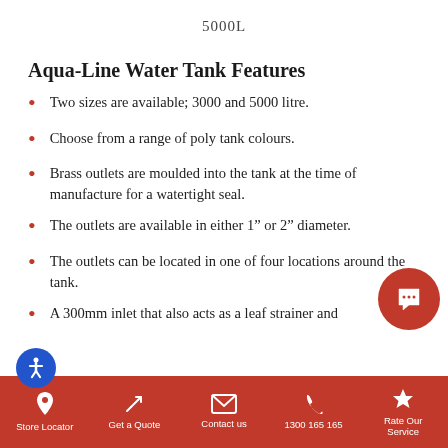5000L
Aqua-Line Water Tank Features
Two sizes are available; 3000 and 5000 litre.
Choose from a range of poly tank colours.
Brass outlets are moulded into the tank at the time of manufacture for a watertight seal.
The outlets are available in either 1” or 2” diameter.
The outlets can be located in one of four locations around the tank.
A 300mm inlet that also acts as a leaf strainer and
Store Locator   Get a Quote   Contact us   1300 165 165   Rate Our Service